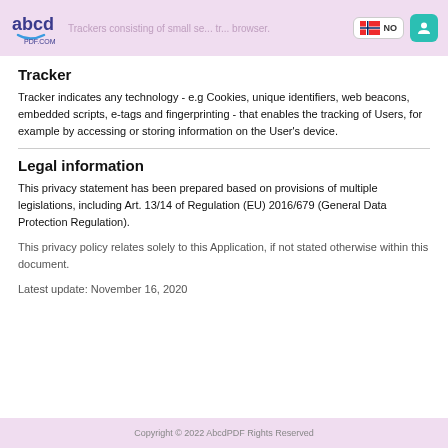abcdPDF.COM — Trackers consisting of small segments — NO — [user icon]
Tracker
Tracker indicates any technology - e.g Cookies, unique identifiers, web beacons, embedded scripts, e-tags and fingerprinting - that enables the tracking of Users, for example by accessing or storing information on the User's device.
Legal information
This privacy statement has been prepared based on provisions of multiple legislations, including Art. 13/14 of Regulation (EU) 2016/679 (General Data Protection Regulation).
This privacy policy relates solely to this Application, if not stated otherwise within this document.
Latest update: November 16, 2020
Copyright © 2022 AbcdPDF Rights Reserved